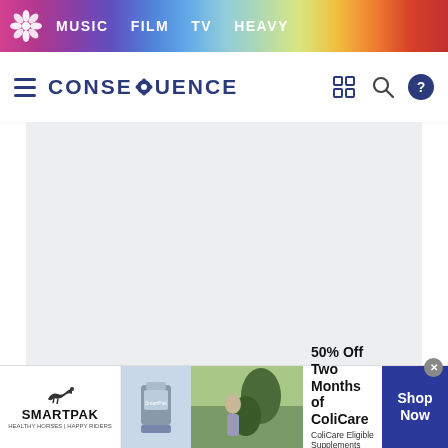MUSIC  FILM  TV  HEAVY
[Figure (logo): Consequence of Sound website logo with hamburger menu, site title CONSEQUENCE, and navigation icons]
[Figure (photo): Large light grey placeholder image area for embedded media content]
— Major kudos to whoever caught the
[Figure (photo): SmartPak advertisement banner: 50% Off Two Months of ColiCare, ColiCare Eligible Supplements, CODE: COLICARE10, Shop Now]